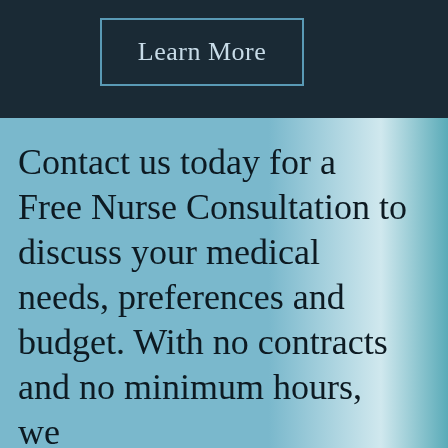[Figure (other): Learn More button with teal border on dark navy background header bar]
Contact us today for a Free Nurse Consultation to discuss your medical needs, preferences and budget. With no contracts and no minimum hours, we